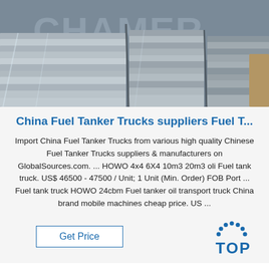[Figure (photo): Industrial photo of stacked metal/aluminum sheets in a warehouse, with a watermark text overlay in the background.]
China Fuel Tanker Trucks suppliers Fuel T...
Import China Fuel Tanker Trucks from various high quality Chinese Fuel Tanker Trucks suppliers & manufacturers on GlobalSources.com. ... HOWO 4x4 6X4 10m3 20m3 oli Fuel tank truck. US$ 46500 - 47500 / Unit; 1 Unit (Min. Order) FOB Port ... Fuel tank truck HOWO 24cbm Fuel tanker oil transport truck China brand mobile machines cheap price. US ...
[Figure (logo): TOP logo with blue dotted arc above the word TOP in blue bold text.]
Get Price